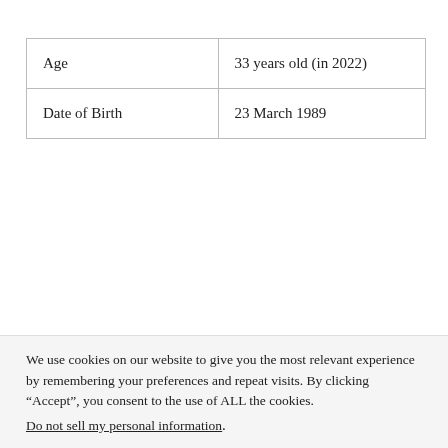| Age | 33 years old (in 2022) |
| Date of Birth | 23 March 1989 |
We use cookies on our website to give you the most relevant experience by remembering your preferences and repeat visits. By clicking “Accept”, you consent to the use of ALL the cookies.
Do not sell my personal information.